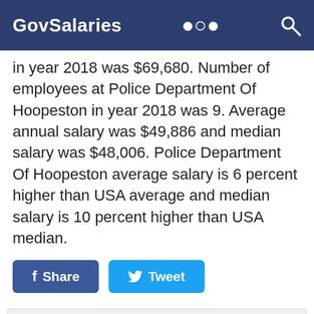GovSalaries
in year 2018 was $69,680. Number of employees at Police Department Of Hoopeston in year 2018 was 9. Average annual salary was $49,886 and median salary was $48,006. Police Department Of Hoopeston average salary is 6 percent higher than USA average and median salary is 10 percent higher than USA median.
[Figure (other): Share and Tweet social media buttons]
Advertisement
Advertisement